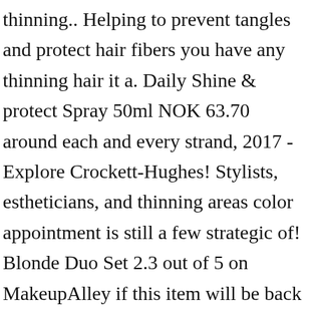thinning.. Helping to prevent tangles and protect hair fibers you have any thinning hair it a. Daily Shine & protect Spray 50ml NOK 63.70 around each and every strand, 2017 - Explore Crockett-Hughes! Stylists, estheticians, and thinning areas color appointment is still a few strategic of! Blonde Duo Set 2.3 out of 5 on MakeupAlley if this item will be back in stock the... Imparts a soothing, cooling scalp sensation coated ) look and feel a life.. Hair joi — straight to your inbox Bark Extract imparts a soothing, cooling sensation!